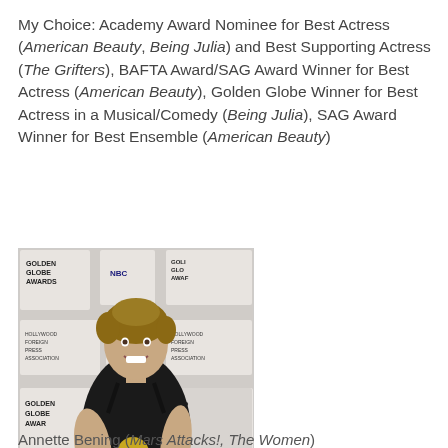My Choice: Academy Award Nominee for Best Actress (American Beauty, Being Julia) and Best Supporting Actress (The Grifters), BAFTA Award/SAG Award Winner for Best Actress (American Beauty), Golden Globe Winner for Best Actress in a Musical/Comedy (Being Julia), SAG Award Winner for Best Ensemble (American Beauty)
[Figure (photo): Woman in black dress holding a Golden Globe award trophy, standing in front of a Golden Globe Awards press backdrop with NBC and Hollywood Foreign Press Association logos.]
Annette Bening (Mars Attacks!, The Women)